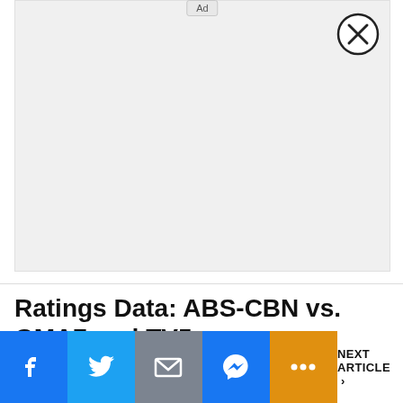[Figure (other): Advertisement placeholder area with light gray background and 'Ad' label at top center, with a circular close (X) button in the top-right corner]
Ratings Data: ABS-CBN vs. GMA7 and TV5
[Figure (other): Social sharing bar with Facebook, Twitter, Email, Messenger, and More (orange) buttons, plus a NEXT ARTICLE link on the right]